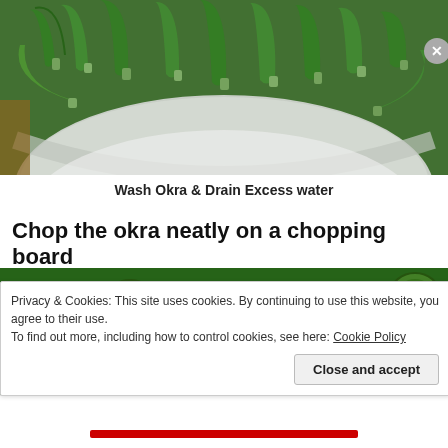[Figure (photo): A white bowl filled with whole green okra pods, freshly washed.]
Wash Okra & Drain Excess water
Chop the okra neatly on a chopping board
[Figure (photo): Chopped green okra pieces on a surface, showing cross-sections with seeds visible.]
Privacy & Cookies: This site uses cookies. By continuing to use this website, you agree to their use.
To find out more, including how to control cookies, see here: Cookie Policy
Close and accept